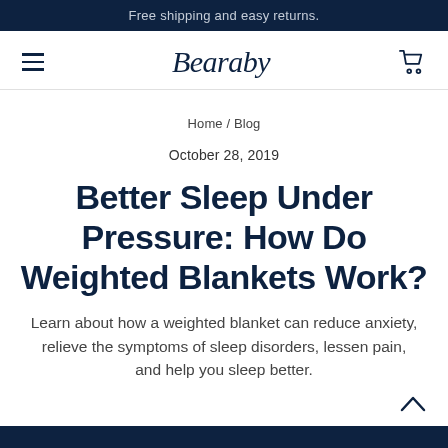Free shipping and easy returns.
[Figure (logo): Bearaby brand logo with hamburger menu and cart icon navigation bar]
Home / Blog
October 28, 2019
Better Sleep Under Pressure: How Do Weighted Blankets Work?
Learn about how a weighted blanket can reduce anxiety, relieve the symptoms of sleep disorders, lessen pain, and help you sleep better.